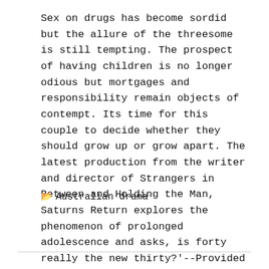Sex on drugs has become sordid but the allure of the threesome is still tempting. The prospect of having children is no longer odious but mortgages and responsibility remain objects of contempt. Its time for this couple to decide whether they should grow up or grow apart. The latest production from the writer and director of Strangers in Between and Holding the Man, Saturns Return explores the phenomenon of prolonged adolescence and asks, is forty really the new thirty?'--Provided by publisher.
Australian drama